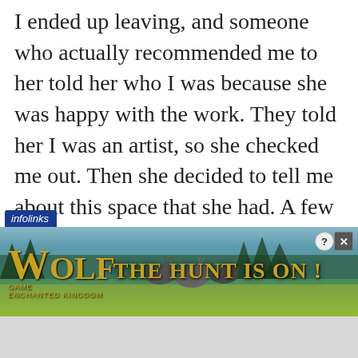I ended up leaving, and someone who actually recommended me to her told her who I was because she was happy with the work. They told her I was an artist, so she checked me out. Then she decided to tell me about this space that she had. A few months later, we met up and I understood there was a shared vision to pour back into the community.
[Figure (screenshot): Advertisement banner for Wolf Game with infolinks label. Shows wolves in a field with text 'THE HUNT IS ON!' and the Wolf Game logo in gold lettering on a nature background.]